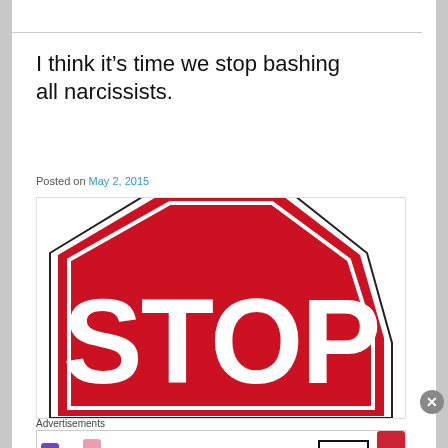I think it’s time we stop bashing all narcissists.
Posted on May 2, 2015
[Figure (illustration): A red STOP sign with white lettering, partially cropped showing the top and the word STOP in large white bold letters on a red octagonal sign with black and white border.]
Advertisements
[Figure (photo): MAC cosmetics advertisement banner showing colorful lipsticks on the left, the MAC logo in the center, a SHOP NOW box, and a red lipstick on the right.]